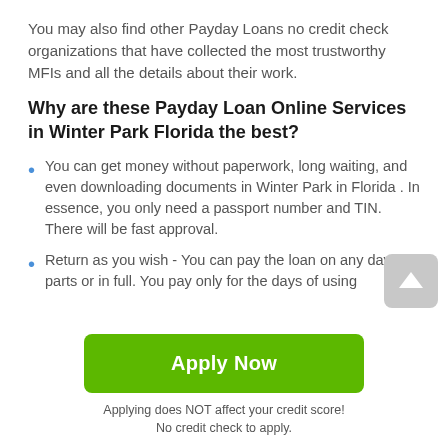You may also find other Payday Loans no credit check organizations that have collected the most trustworthy MFIs and all the details about their work.
Why are these Payday Loan Online Services in Winter Park Florida the best?
You can get money without paperwork, long waiting, and even downloading documents in Winter Park in Florida . In essence, you only need a passport number and TIN. There will be fast approval.
Return as you wish - You can pay the loan on any day, in parts or in full. You pay only for the days of using
Apply Now
Applying does NOT affect your credit score!
No credit check to apply.